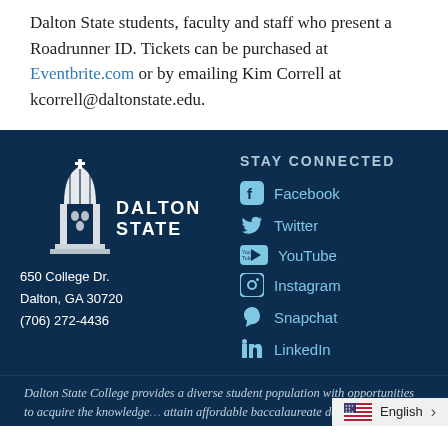Dalton State students, faculty and staff who present a Roadrunner ID. Tickets can be purchased at Eventbrite.com or by emailing Kim Correll at kcorrell@daltonstate.edu.
[Figure (logo): Dalton State College logo with building icon and text DALTON STATE]
650 College Dr.
Dalton, GA 30720
(706) 272-4436
STAY CONNECTED
Facebook
Twitter
YouTube
Instagram
Snapchat
LinkedIn
Dalton State College provides a diverse student population with opportunities to acquire the knowledge... attain affordable baccalaureate degr...
English